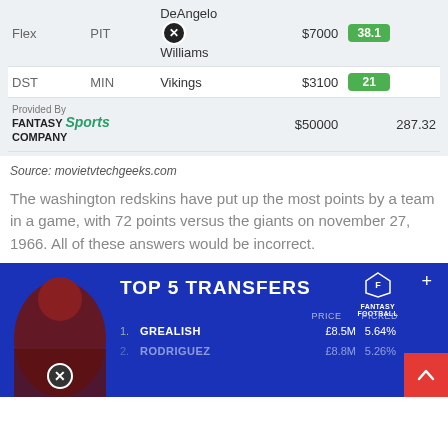| Position | Team | Player | Salary | Points |
| --- | --- | --- | --- | --- |
| Flex | PIT | DeAngelo Williams | $7000 | 38.1 |
| DST | MIN | Vikings | $3100 | 21 |
|  |  | Provided By Fantasy Sports Company | $50000 | 287.32 |
Source: movietvtechgeeks.com
The washington redskins have put up the most points by a team in a game, with 72 points versus the giants on november 27, 1966. All of these answers would be incorrect.
[Figure (infographic): Top 5 Transfers fantasy football infographic with blue background showing player photo (Grealish area), columns for PRICE and PICKED. Row 1: GREALISH, £8.5M, 5.64%. Row 2: partial row visible RODRIGUEZ, £8.8M, 5.26%.]